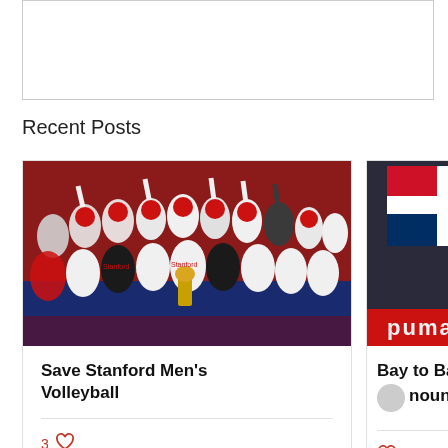[Figure (other): Empty bordered white box at top of page, possibly a placeholder or header image area]
Recent Posts
[Figure (photo): Team photo of Stanford Men's Volleyball team celebrating with championship trophy, players wearing white jerseys, pointing fingers up]
Save Stanford Men's Volleyball
3 likes
[Figure (photo): Partial image of an athlete in front of Dominican Republic flag and Puma banner]
Bay to Ba... nounc...
likes (heart icon)